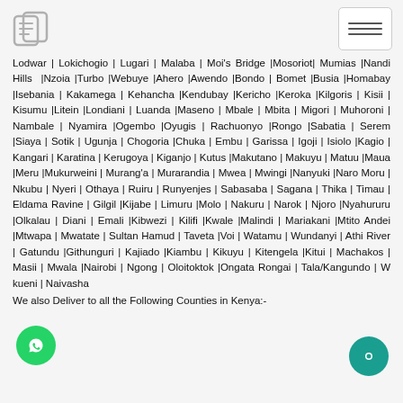Logo and navigation menu
Lodwar | Lokichogio | Lugari | Malaba | Moi’s Bridge |Mosoriot| Mumias |Nandi Hills  |Nzoia |Turbo |Webuye |Ahero |Awendo |Bondo | Bomet |Busia |Homabay |Isebania | Kakamega | Kehancha |Kendubay |Kericho |Keroka |Kilgoris | Kisii | Kisumu |Litein |Londiani | Luanda |Maseno | Mbale | Mbita | Migori | Muhoroni | Nambale | Nyamira |Ogembo |Oyugis | Rachuonyo |Rongo |Sabatia | Serem |Siaya | Sotik | Ugunja | Chogoria |Chuka | Embu | Garissa | Igoji | Isiolo |Kagio | Kangari | Karatina | Kerugoya | Kiganjo | Kutus |Makutano | Makuyu | Matuu |Maua |Meru |Mukurweini | Murang’a | Murarandia | Mwea | Mwingi |Nanyuki |Naro Moru | Nkubu | Nyeri | Othaya | Ruiru | Runyenjes | Sabasaba | Sagana | Thika | Timau | Eldama Ravine | Gilgil |Kijabe | Limuru |Molo | Nakuru | Narok | Njoro |Nyahururu |Olkalau | Diani | Emali |Kibwezi | Kilifi |Kwale |Malindi | Mariakani |Mtito Andei |Mtwapa | Mwatate | Sultan Hamud | Taveta |Voi | Watamu | Wundanyi | Athi River | Gatundu |Githunguri | Kajiado |Kiambu | Kikuyu | Kitengela |Kitui | Machakos | Masii | Mwala |Nairobi | Ngong | Oloitoktok |Ongata Rongai | Tala/Kangundo | W…kueni | Naivasha
We also Deliver to all the Following Counties in Kenya:-